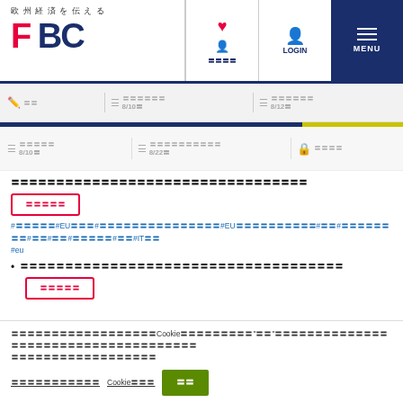欧州経済を伝える FBC
ログイン MENU
最新記事 8/10日 最新記事 8/12日
最新記事 8/10日 最新記事 8/22日 会員限定
〓〓〓〓〓〓〓〓〓〓〓【〓〓〓〓〓〓〓〓〓〓〓〓〓〓〓〓〓〓〓〓〓〓〓〓
続きを読む
#〓〓〓〓〓#EU〓〓〓#〓〓〓〓〓〓〓〓〓〓〓〓〓〓〓#EU〓〓〓〓〓〓〓〓〓〓#〓〓#〓〓〓〓〓〓〓〓#〓〓#〓〓#〓〓〓〓〓#〓〓#IT〓〓 #eu
〓〓〓〓〓〓〓〓〓〓〓〓〓〓〓〓〓〓〓〓〓〓〓〓〓〓〓〓〓〓〓〓〓〓〓〓
続きを読む
このウェブサイトはユーザーエクスペリエンス向上のためCookieを使用します。“同意”をクリックすることでプライバシーポリシーに同意したことになります。また、確認せずにこのサイトを利用した場合も同様です。
プライバシーポリシー Cookie設定 同意